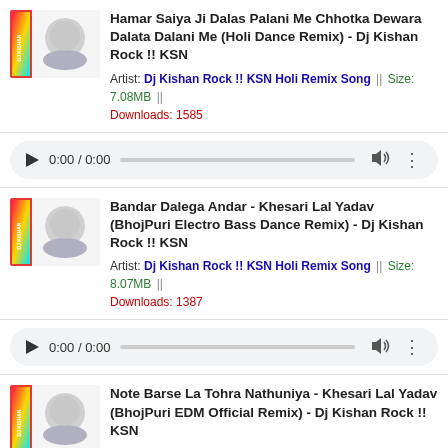[Figure (illustration): Album thumbnail for DJ Kishan Rock song 1]
Hamar Saiya Ji Dalas Palani Me Chhotka Dewara Dalata Dalani Me (Holi Dance Remix) - Dj Kishan Rock !! KSN
Artist: Dj Kishan Rock !! KSN Holi Remix Song || Size: 7.08MB || Downloads: 1585
[Figure (screenshot): Audio player bar 0:00 / 0:00]
[Figure (illustration): Album thumbnail for DJ Kishan Rock song 2]
Bandar Dalega Andar - Khesari Lal Yadav (BhojPuri Electro Bass Dance Remix) - Dj Kishan Rock !! KSN
Artist: Dj Kishan Rock !! KSN Holi Remix Song || Size: 8.07MB || Downloads: 1387
[Figure (screenshot): Audio player bar 0:00 / 0:00]
[Figure (illustration): Album thumbnail for DJ Kishan Rock song 3]
Note Barse La Tohra Nathuniya - Khesari Lal Yadav (BhojPuri EDM Official Remix) - Dj Kishan Rock !! KSN
Artist: Dj Kishan Rock !! KSN || Size: 3.84MB || Downloads: 622